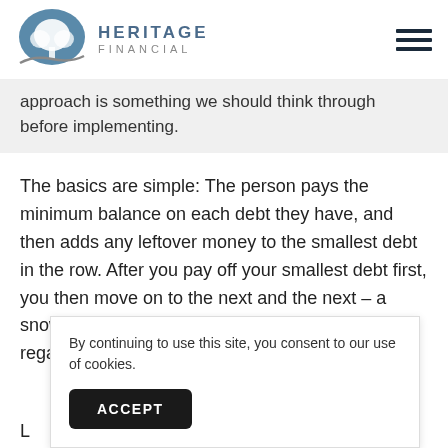Heritage Financial
approach is something we should think through before implementing.
The basics are simple: The person pays the minimum balance on each debt they have, and then adds any leftover money to the smallest debt in the row. After you pay off your smallest debt first, you then move on to the next and the next – a snowball effect. This approach is taken without regard to the interest rates o
By continuing to use this site, you consent to our use of cookies.
ACCEPT
L